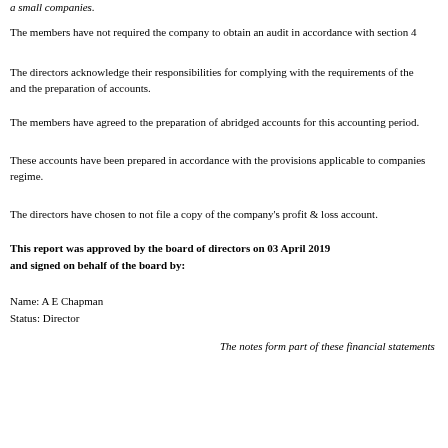a small companies.
The members have not required the company to obtain an audit in accordance with section 4
The directors acknowledge their responsibilities for complying with the requirements of the and the preparation of accounts.
The members have agreed to the preparation of abridged accounts for this accounting period.
These accounts have been prepared in accordance with the provisions applicable to companies regime.
The directors have chosen to not file a copy of the company's profit & loss account.
This report was approved by the board of directors on 03 April 2019 and signed on behalf of the board by:
Name: A E Chapman
Status: Director
The notes form part of these financial statements